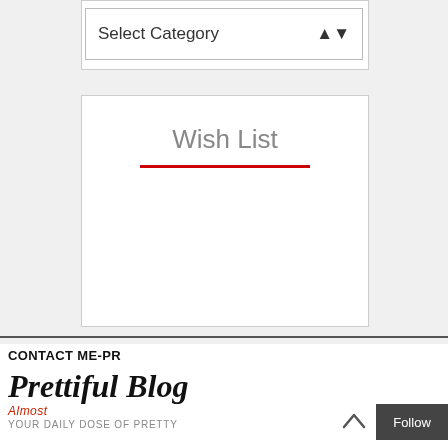[Figure (screenshot): A dropdown UI widget labeled 'Select Category' with up/down arrow indicator]
Wish List
CONTACT ME-PR
[Figure (logo): Prettiful Blog logo with script font, 'Almost' in red italic, 'YOUR DAILY DOSE OF PRETTY' subtitle]
[Figure (other): Up arrow navigation button]
Follow